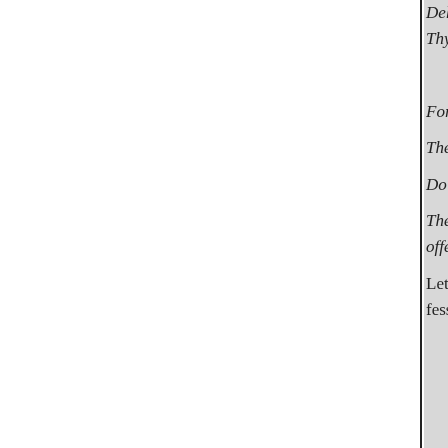Deliver me from blood guiltiness... Thy righteousness.
O Lord, open Thou my lips, and my mouth shall show forth Thy praise.
For Thou desirest not sacrifice, else would I give it:
The sacrifices of God are a broken spirit:
Do good in Thy good pleasure unto Zion:
Then shalt Thou be pleased with the sacrifices of righteousness, with burnt offering ; then shall they offer bullocks upon Thine altar.
Let us suppose that we behold the royal penitent, confessing his crime with contrition
calling calling out for mercy, and yet feeling the greatest abhorrence displeasure of God, and the more so because insulted by his inferiors : surely they could even be certain of purchasing so dear a purchase? But w
* I am weary of my crying, my throat is dried:
OGod, Thou knowest my foolishness; O LORD God of hosts, be ashamed for my sake; God of Israel.